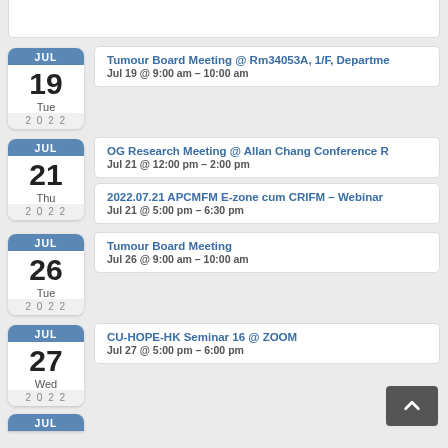Tumour Board Meeting @ Rm34053A, 1/F, Department — Jul 19 @ 9:00 am – 10:00 am — JUL 19 Tue 2022
OG Research Meeting @ Allan Chang Conference R — Jul 21 @ 12:00 pm – 2:00 pm — JUL 21 Thu 2022
2022.07.21 APCMFM E-zone cum CRIFM – Webinar — Jul 21 @ 5:00 pm – 6:30 pm
Tumour Board Meeting — Jul 26 @ 9:00 am – 10:00 am — JUL 26 Tue 2022
CU-HOPE-HK Seminar 16 @ ZOOM — Jul 27 @ 5:00 pm – 6:00 pm — JUL 27 Wed 2022
JUL 2022 (partial, bottom)